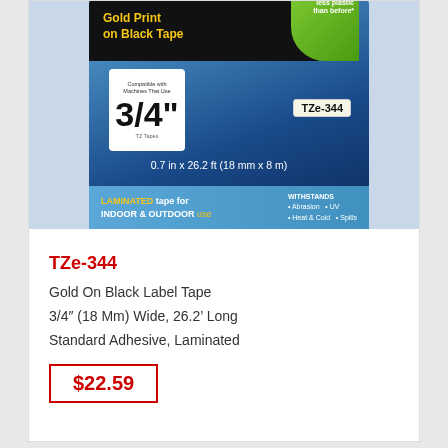[Figure (photo): Product photo of Brother TZe-344 Gold Print on Black Tape packaging showing 3/4 inch size, TZe-344 label, dimensions 0.7 in x 26.2 ft (18 mm x 8 m), laminated tape for indoor and outdoor use, gold on black label strip]
TZe-344
Gold On Black Label Tape
3/4" (18 Mm) Wide, 26.2' Long
Standard Adhesive, Laminated
$22.59